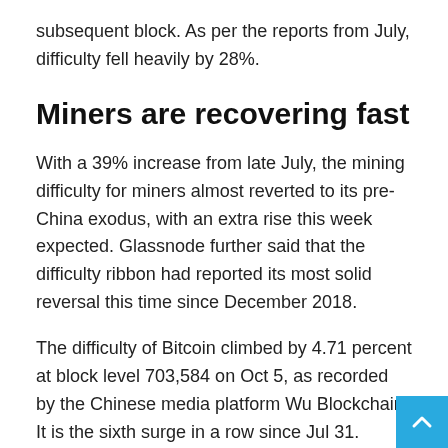subsequent block. As per the reports from July, difficulty fell heavily by 28%.
Miners are recovering fast
With a 39% increase from late July, the mining difficulty for miners almost reverted to its pre-China exodus, with an extra rise this week expected. Glassnode further said that the difficulty ribbon had reported its most solid reversal this time since December 2018.
The difficulty of Bitcoin climbed by 4.71 percent at block level 703,584 on Oct 5, as recorded by the Chinese media platform Wu Blockchain. It is the sixth surge in a row since Jul 31.
Given the 50% decrease in block rewards from 12.5 BTC to 6.25 BTC in May 2020, mining profitability has grown